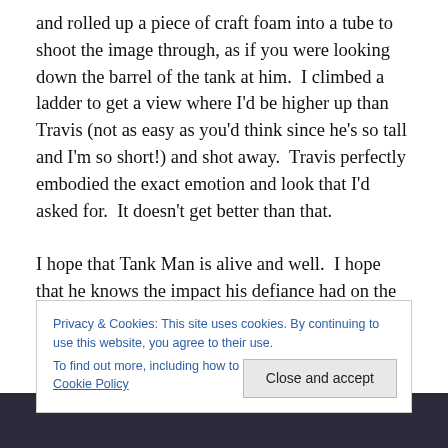and rolled up a piece of craft foam into a tube to shoot the image through, as if you were looking down the barrel of the tank at him.  I climbed a ladder to get a view where I'd be higher up than Travis (not as easy as you'd think since he's so tall and I'm so short!) and shot away.  Travis perfectly embodied the exact emotion and look that I'd asked for.  It doesn't get better than that.

I hope that Tank Man is alive and well.  I hope that he knows the impact his defiance had on the world.  I hope we discover some day who he is.  Until then, he will be
Privacy & Cookies: This site uses cookies. By continuing to use this website, you agree to their use.
To find out more, including how to control cookies, see here: Cookie Policy
Close and accept
[Figure (photo): Dark-toned image strip at the bottom of the page, appears to be a partial photo.]